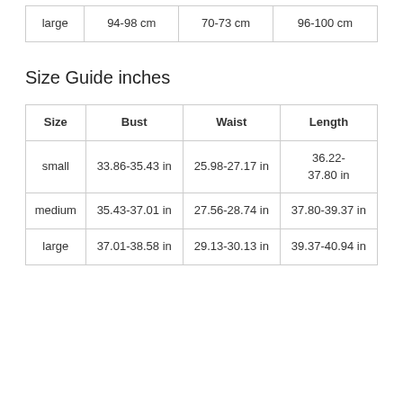| large | 94-98 cm | 70-73 cm | 96-100 cm |
Size Guide inches
| Size | Bust | Waist | Length |
| --- | --- | --- | --- |
| small | 33.86-35.43 in | 25.98-27.17 in | 36.22-37.80 in |
| medium | 35.43-37.01 in | 27.56-28.74 in | 37.80-39.37 in |
| large | 37.01-38.58 in | 29.13-30.13 in | 39.37-40.94 in |